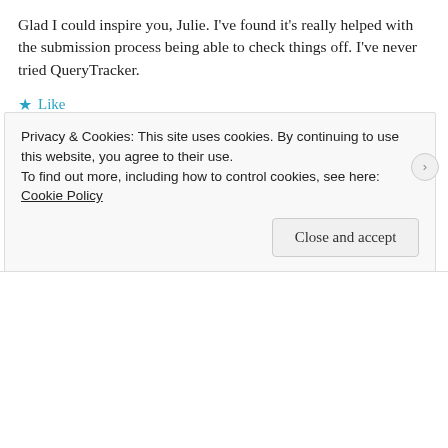Glad I could inspire you, Julie. I've found it's really helped with the submission process being able to check things off. I've never tried QueryTracker.
★ Like
➜ REPLY
Advertisements
[Figure (infographic): Pocket Casts advertisement: colorful diamond-shaped app icon on left, text 'The go-to app for podcast lovers.' in center, Pocket Casts logo and name on right]
REPORT THIS AD
Privacy & Cookies: This site uses cookies. By continuing to use this website, you agree to their use.
To find out more, including how to control cookies, see here: Cookie Policy
Close and accept